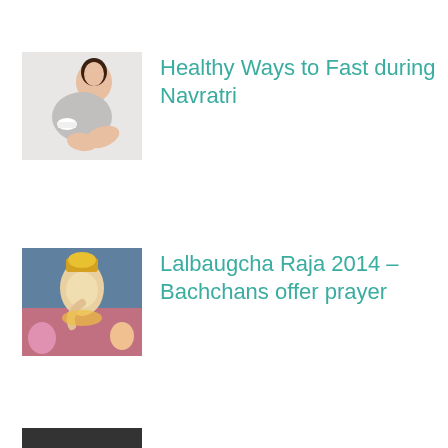[Figure (photo): Woman lying down smiling, holding a bowl, white background]
Healthy Ways to Fast during Navratri
[Figure (photo): Lalbaugcha Raja Ganesh idol with devotees and decorations]
Lalbaugcha Raja 2014 – Bachchans offer prayer
[Figure (photo): Partially visible image at bottom with spamcheck.com watermark]